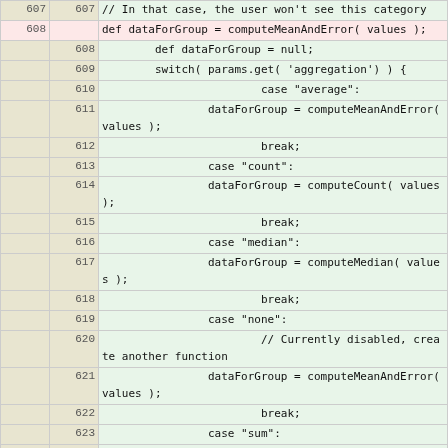| old | new | code |
| --- | --- | --- |
| 607 | 607 | // In that case, the user won't see this category |
| 608 |  | def dataForGroup = computeMeanAndError( values ); |
|  | 608 | def dataForGroup = null; |
|  | 609 | switch( params.get( 'aggregation') ) { |
|  | 610 | case "average": |
|  | 611 | dataForGroup = computeMeanAndError( values ); |
|  | 612 | break; |
|  | 613 | case "count": |
|  | 614 | dataForGroup = computeCount( values ); |
|  | 615 | break; |
|  | 616 | case "median": |
|  | 617 | dataForGroup = computeMedian( values ); |
|  | 618 | break; |
|  | 619 | case "none": |
|  | 620 | // Currently disabled, create another function |
|  | 621 | dataForGroup = computeMeanAndError( values ); |
|  | 622 | break; |
|  | 623 | case "sum": |
|  | 624 | dataForGroup = computeSum( values ); |
|  | 625 | break; |
|  | 626 | default: |
|  | 627 | // Default is "average" |
|  | 628 | dataForGroup = computeMeanAndError( values ); |
|  | 629 |  |